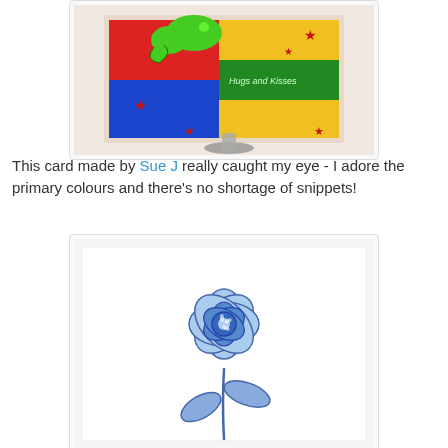[Figure (photo): A colorful handmade card with primary colors (red, blue, yellow, green) featuring a green cartoon animal/snake, stars, and text reading 'Hugs and Kisses', displayed on a decorative stand.]
This card made by Sue J really caught my eye - I adore the primary colours and there's no shortage of snippets!
[Figure (photo): A handmade greeting card on white background featuring a blue flower with multiple petals and a stem with two leaves, drawn/colored in shades of blue.]